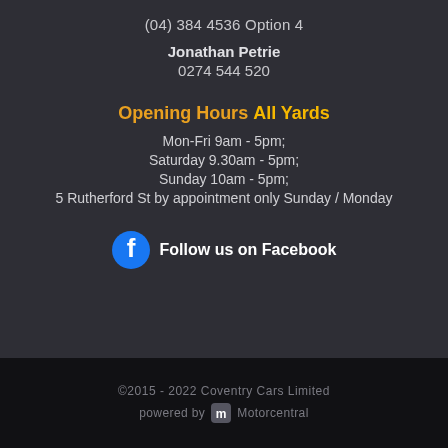(04) 384 4536 Option 4
Jonathan Petrie
0274 544 520
Opening Hours All Yards
Mon-Fri 9am - 5pm;
Saturday 9.30am - 5pm;
Sunday 10am - 5pm;
5 Rutherford St by appointment only Sunday / Monday
[Figure (logo): Facebook logo icon followed by text 'Follow us on Facebook']
©2015 - 2022 Coventry Cars Limited
powered by Motorcentral